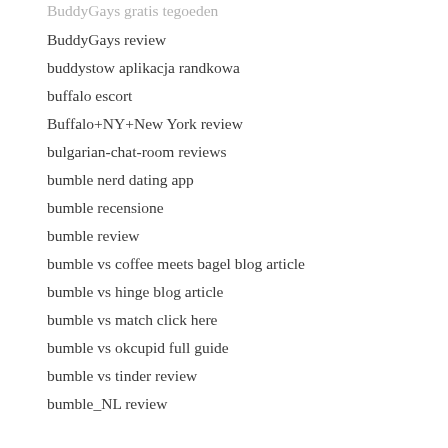BuddyGays gratis tegoeden
BuddyGays review
buddystow aplikacja randkowa
buffalo escort
Buffalo+NY+New York review
bulgarian-chat-room reviews
bumble nerd dating app
bumble recensione
bumble review
bumble vs coffee meets bagel blog article
bumble vs hinge blog article
bumble vs match click here
bumble vs okcupid full guide
bumble vs tinder review
bumble_NL review